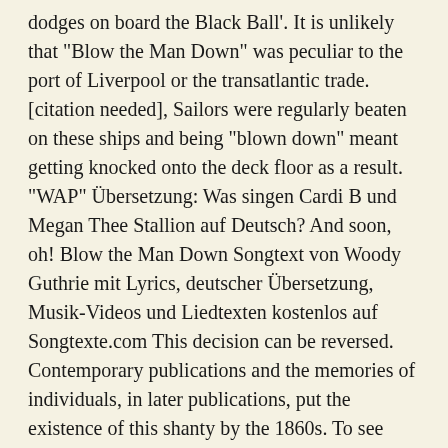dodges on board the Black Ball'. It is unlikely that "Blow the Man Down" was peculiar to the port of Liverpool or the transatlantic trade. [citation needed], Sailors were regularly beaten on these ships and being "blown down" meant getting knocked onto the deck floor as a result. "WAP" Übersetzung: Was singen Cardi B und Megan Thee Stallion auf Deutsch? And soon, oh! Blow the Man Down Songtext von Woody Guthrie mit Lyrics, deutscher Übersetzung, Musik-Videos und Liedtexten kostenlos auf Songtexte.com This decision can be reversed. Contemporary publications and the memories of individuals, in later publications, put the existence of this shanty by the 1860s. To see these poor fellows, how on board they flock. The song was of indefinite length, and created by supplying solo verses to an invariable two-part refrain. Tambourine Man'; June 21, 1965, Lyricapsule: Nirvana Drop 'Bleach'; June 15, 1989, Lyricapsule: Derek and the Dominos' First Gig; June 14, 1970, Medley: Joy to the World / Angels We Have Heard